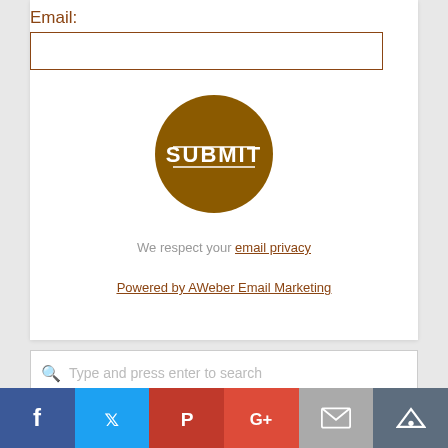Email:
[Figure (illustration): Brown circular submit button with white text SUBMIT and two horizontal white lines above and below the text]
We respect your email privacy
Powered by AWeber Email Marketing
[Figure (screenshot): Search bar with magnifying glass icon and placeholder text]
[Figure (infographic): Social media sharing bar with Facebook, Twitter, Pinterest, Google+, Email, and Crown icons]